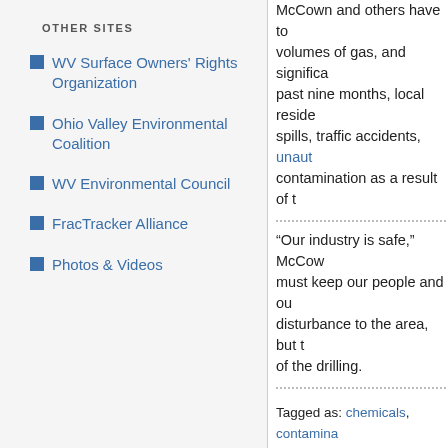OTHER SITES
WV Surface Owners' Rights Organization
Ohio Valley Environmental Coalition
WV Environmental Council
FracTracker Alliance
Photos & Videos
McCown and others have to... volumes of gas, and significa... past nine months, local reside... spills, traffic accidents, unaut... contamination as a result of t...
“Our industry is safe,” McCow... must keep our people and ou... disturbance to the area, but t... of the drilling.
Tagged as: chemicals, contamina... jobs, marcellus shale, pennsylvan...
PREVIOUS POST: More Calls... Marcellus Wells
NEXT POST: Unconventional... Hydrofracking, Here to Stay